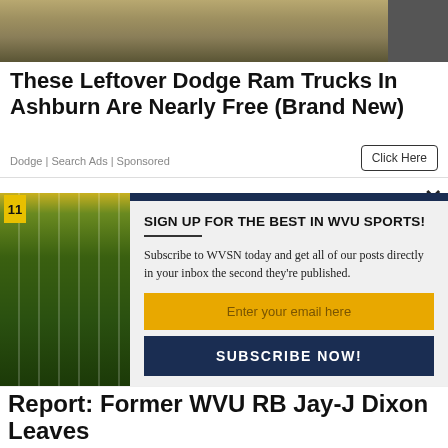[Figure (photo): Close-up photo of ground/truck undercarriage, sandy/dirt surface]
These Leftover Dodge Ram Trucks In Ashburn Are Nearly Free (Brand New)
Dodge | Search Ads | Sponsored
Click Here
[Figure (photo): Football field sideline scene with players and yellow yard markers, partially obscured by popup]
✕
SIGN UP FOR THE BEST IN WVU SPORTS!
Subscribe to WVSN today and get all of our posts directly in your inbox the second they're published.
Enter your email here
SUBSCRIBE NOW!
We respect your privacy and will never sell your info
Report: Former WVU RB Jay-J Dixon Leaves...